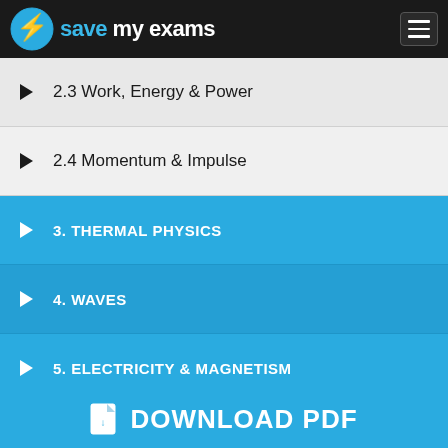Save My Exams
2.3 Work, Energy & Power
2.4 Momentum & Impulse
3. THERMAL PHYSICS
4. WAVES
5. ELECTRICITY & MAGNETISM
DOWNLOAD PDF